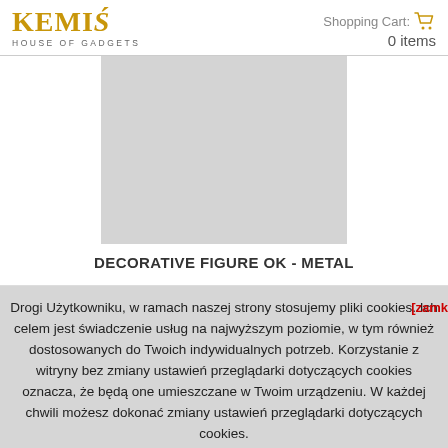[Figure (logo): Kemiś House of Gadgets logo — stylized golden text 'KEMIS' with accent mark, subtitle 'HOUSE OF GADGETS']
Shopping Cart: 0 items
[Figure (photo): Product image placeholder — light grey rectangle]
DECORATIVE FIGURE OK - METAL
Drogi Użytkowniku, w ramach naszej strony stosujemy pliki cookies. Ich celem jest świadczenie usług na najwyższym poziomie, w tym również dostosowanych do Twoich indywidualnych potrzeb. Korzystanie z witryny bez zmiany ustawień przeglądarki dotyczących cookies oznacza, że będą one umieszczane w Twoim urządzeniu. W każdej chwili możesz dokonać zmiany ustawień przeglądarki dotyczących cookies.
[zamknij]